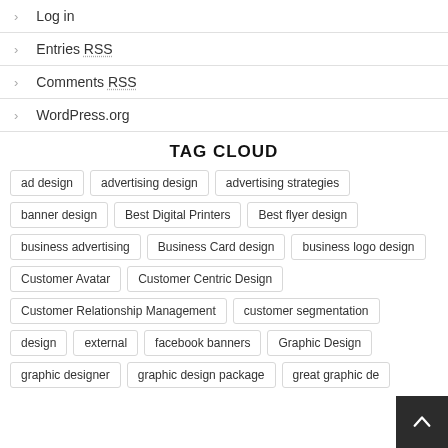Log in
Entries RSS
Comments RSS
WordPress.org
TAG CLOUD
ad design, advertising design, advertising strategies, banner design, Best Digital Printers, Best flyer design, business advertising, Business Card design, business logo design, Customer Avatar, Customer Centric Design, Customer Relationship Management, customer segmentation, design, external, facebook banners, Graphic Design, graphic designer, graphic design package, great graphic de...